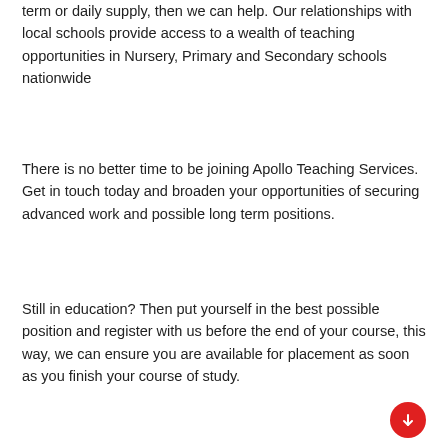term or daily supply, then we can help. Our relationships with local schools provide access to a wealth of teaching opportunities in Nursery, Primary and Secondary schools nationwide
There is no better time to be joining Apollo Teaching Services. Get in touch today and broaden your opportunities of securing advanced work and possible long term positions.
Still in education? Then put yourself in the best possible position and register with us before the end of your course, this way, we can ensure you are available for placement as soon as you finish your course of study.